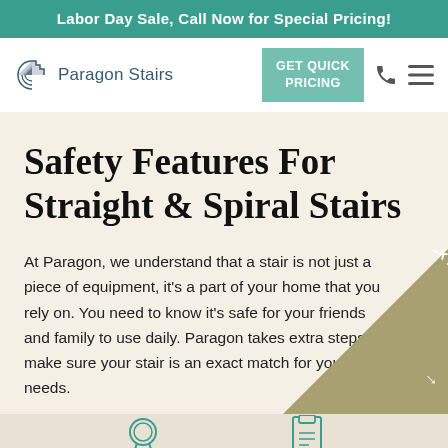Labor Day Sale, Call Now for Special Pricing!
[Figure (logo): Paragon Stairs logo with stylized stair/fan icon in teal-blue and company name text]
GET QUICK PRICING
Safety Features For Straight & Spiral Stairs
At Paragon, we understand that a stair is not just a piece of equipment, it's a part of your home that you rely on. You need to know it's safe for your friends and family to use daily. Paragon takes extra steps to make sure your stair is an exact match for your safety needs.
[Figure (infographic): Bottom icons row with two circular line-art icons (award/ribbon and document/specs icons) on light beige background]
[Figure (other): Corner ribbon/banner in olive-tan color with diagonal text 'Get Quick Pricing' and arrow]